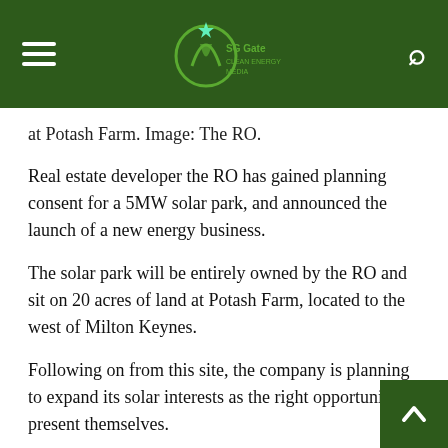SG Gates [logo] ☰ 🔍
at Potash Farm. Image: The RO.
Real estate developer the RO has gained planning consent for a 5MW solar park, and announced the launch of a new energy business.
The solar park will be entirely owned by the RO and sit on 20 acres of land at Potash Farm, located to the west of Milton Keynes.
Following on from this site, the company is planning to expand its solar interests as the right opportunities present themselves.
“We are incredibly proud to be launching a clean energy company, which reflects our group commitment to helping shape a more sustainable